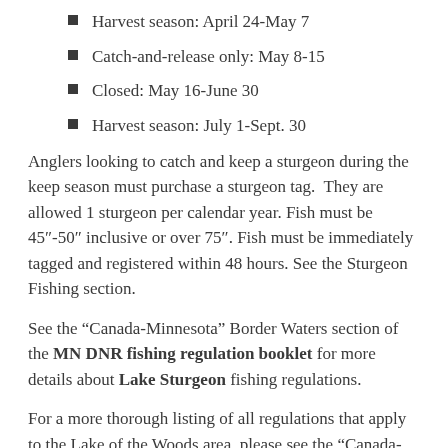Harvest season: April 24-May 7
Catch-and-release only: May 8-15
Closed: May 16-June 30
Harvest season: July 1-Sept. 30
Anglers looking to catch and keep a sturgeon during the keep season must purchase a sturgeon tag.  They are allowed 1 sturgeon per calendar year. Fish must be 45″-50″ inclusive or over 75″. Fish must be immediately tagged and registered within 48 hours. See the Sturgeon Fishing section.
See the “Canada-Minnesota” Border Waters section of the MN DNR fishing regulation booklet for more details about Lake Sturgeon fishing regulations.
For a more thorough listing of all regulations that apply to the Lake of the Woods area, please see the “Canada-